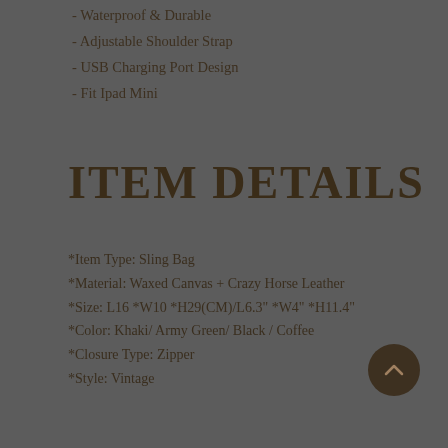- Waterproof & Durable
- Adjustable Shoulder Strap
- USB Charging Port Design
- Fit Ipad Mini
ITEM DETAILS
*Item Type: Sling Bag
*Material: Waxed Canvas + Crazy Horse Leather
*Size: L16 *W10 *H29(CM)/L6.3" *W4" *H11.4"
*Color: Khaki/ Army Green/ Black / Coffee
*Closure Type: Zipper
*Style: Vintage